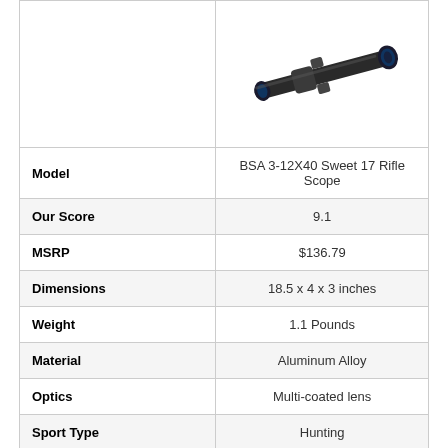[Figure (photo): Photo of BSA 3-12X40 Sweet 17 Rifle Scope, a black rifle scope shown at an angle against white background]
| Attribute | Value |
| --- | --- |
| Model | BSA 3-12X40 Sweet 17 Rifle Scope |
| Our Score | 9.1 |
| MSRP | $136.79 |
| Dimensions | 18.5 x 4 x 3 inches |
| Weight | 1.1 Pounds |
| Material | Aluminum Alloy |
| Optics | Multi-coated lens |
| Sport Type | Hunting |